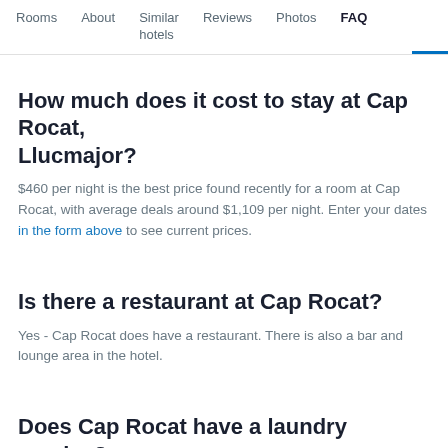Rooms | About | Similar hotels | Reviews | Photos | FAQ
How much does it cost to stay at Cap Rocat, Llucmajor?
$460 per night is the best price found recently for a room at Cap Rocat, with average deals around $1,109 per night. Enter your dates in the form above to see current prices.
Is there a restaurant at Cap Rocat?
Yes - Cap Rocat does have a restaurant. There is also a bar and lounge area in the hotel.
Does Cap Rocat have a laundry service?
This accommodation does offer laundry services. There is also an ironing board and iron in the accommodation.